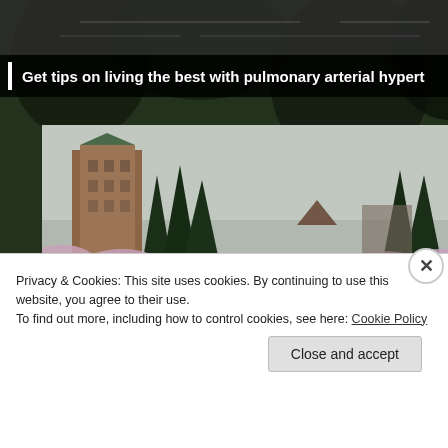[Figure (photo): Dark green foliage/tree background at top of page, partially obscuring a website header]
Get tips on living the best with pulmonary arterial hypert...
[Figure (photo): Campus/building photo showing a tall brick/stone building with a green roof, surrounded by tall evergreen trees and pink flowering shrubs in foreground, overcast sky]
Privacy & Cookies: This site uses cookies. By continuing to use this website, you agree to their use.
To find out more, including how to control cookies, see here: Cookie Policy
Close and accept